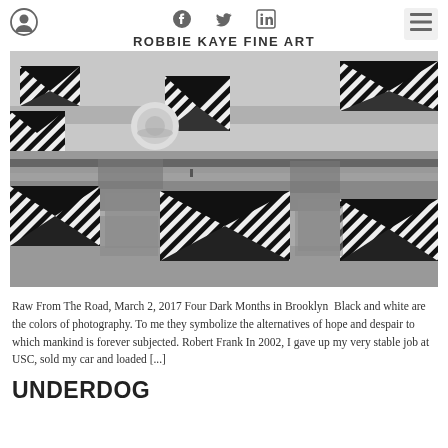ROBBIE KAYE FINE ART
[Figure (photo): Aerial black and white photograph looking down at a building rooftop with striped triangular skylights/windows arranged in rows, taken from above in an urban setting in Brooklyn.]
Raw From The Road, March 2, 2017 Four Dark Months in Brooklyn  Black and white are the colors of photography. To me they symbolize the alternatives of hope and despair to which mankind is forever subjected. Robert Frank In 2002, I gave up my very stable job at USC, sold my car and loaded [...]
UNDERDOG